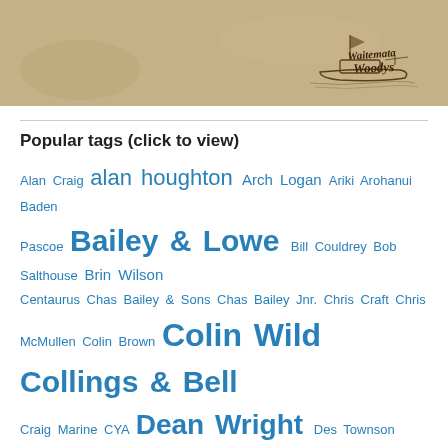[Figure (logo): Waitemata Woodys logo with boat illustration on tan/kraft paper background]
Popular tags (click to view)
Alan Craig alan houghton Arch Logan Ariki Arohanui Baden Pascoe Bailey & Lowe Bill Couldrey Bob Salthouse Brin Wilson Centaurus Chas Bailey & Sons Chas Bailey Jnr. Chris Craft Chris McMullen Colin Brown Colin Wild Collings & Bell Craig Marine CYA Dean Wright Des Townson Dick Lang Eileen Patricia Game Fishing Gay Dawn Geoff Bagnall Guthrie family Jack Brooke Jack Brooke Cruise Collection Jim Young Joe ...